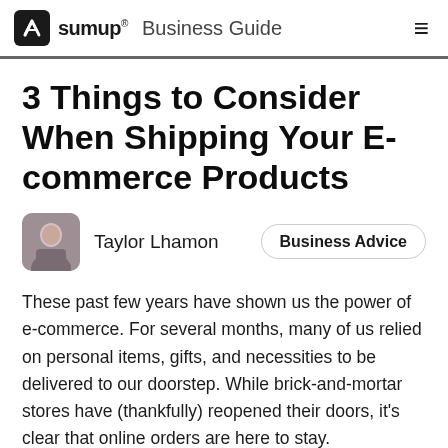sumup® Business Guide
3 Things to Consider When Shipping Your E-commerce Products
Taylor Lhamon
Business Advice
These past few years have shown us the power of e-commerce. For several months, many of us relied on personal items, gifts, and necessities to be delivered to our doorstep. While brick-and-mortar stores have (thankfully) reopened their doors, it's clear that online orders are here to stay.